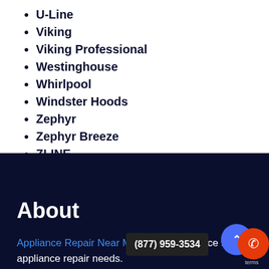U-Line
Viking
Viking Professional
Westinghouse
Whirlpool
Windster Hoods
Zephyr
Zephyr Breeze
ZLINE
About
Appliance Repair Near Me is th… appliance repair needs.